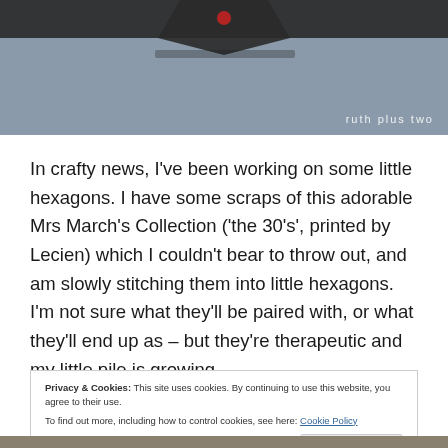[Figure (photo): Partial photo of a crafted item (likely hexagon fabric pieces) on a grey-blue background with 'ruth plus two' watermark in white text bottom-right.]
In crafty news, I've been working on some little hexagons. I have some scraps of this adorable Mrs March's Collection ('the 30's', printed by Lecien) which I couldn't bear to throw out, and am slowly stitching them into little hexagons. I'm not sure what they'll be paired with, or what they'll end up as – but they're therapeutic and my little pile is growing.
Privacy & Cookies: This site uses cookies. By continuing to use this website, you agree to their use.
To find out more, including how to control cookies, see here: Cookie Policy
[Close and accept]